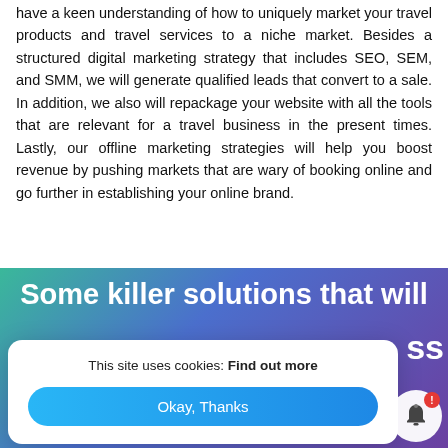have a keen understanding of how to uniquely market your travel products and travel services to a niche market. Besides a structured digital marketing strategy that includes SEO, SEM, and SMM, we will generate qualified leads that convert to a sale. In addition, we also will repackage your website with all the tools that are relevant for a travel business in the present times. Lastly, our offline marketing strategies will help you boost revenue by pushing markets that are wary of booking online and go further in establishing your online brand.
Some killer solutions that will
[Figure (screenshot): Cookie consent banner overlay with text 'This site uses cookies: Find out more' and a blue 'Okay, Thanks' button. A notification bell icon with red badge is partially visible at bottom right.]